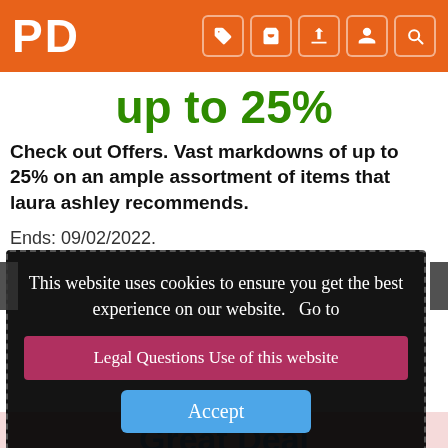PD
up to 25%
Check out Offers. Vast markdowns of up to 25% on an ample assortment of items that laura ashley recommends.
Ends: 09/02/2022.
[Figure (screenshot): Cookie consent overlay on dark semi-transparent background with dashed border. Contains text: 'This website uses cookies to ensure you get the best experience on our website. Go to', a red 'Legal Questions Use of this website' button, and a blue 'Accept' button.]
Great Deal
In laura ashley you can discover big markdowns. Don't hesitate and come to see this opportunity.